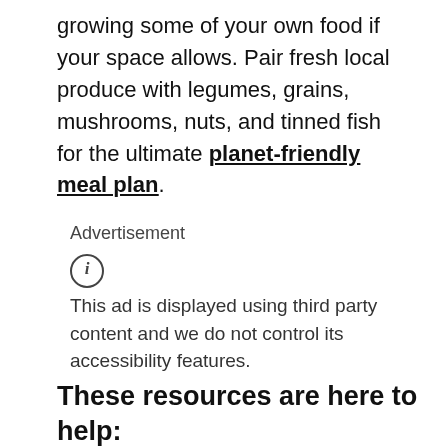growing some of your own food if your space allows. Pair fresh local produce with legumes, grains, mushrooms, nuts, and tinned fish for the ultimate planet-friendly meal plan.
Advertisement
[Figure (infographic): Info icon (circle with i) indicating ad disclosure notice]
This ad is displayed using third party content and we do not control its accessibility features.
These resources are here to help:
Whether you have an expansive yard or tiny windowsill herb garden, mbg has you covered with tips for getting the most yield. Be sure to check out our primers on starting a productive yard using planet-